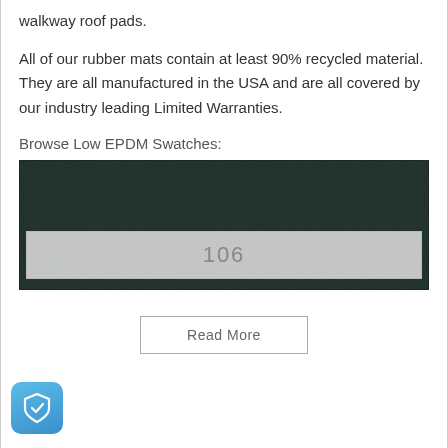walkway roof pads.
All of our rubber mats contain at least 90% recycled material. They are all manufactured in the USA and are all covered by our industry leading Limited Warranties.
Browse Low EPDM Swatches:
[Figure (photo): Dark textured rubber mat swatch with a light grey label overlay showing '106']
Read More